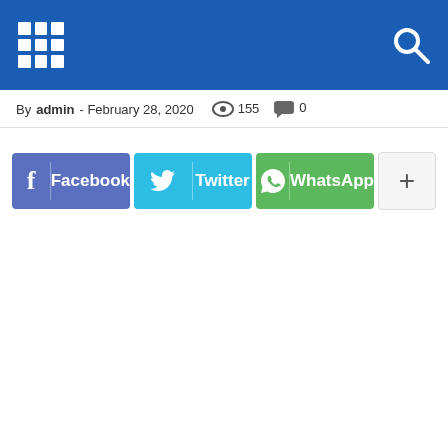Navigation bar with grid menu icon and search icon
By admin - February 28, 2020  👁 155  💬 0
[Figure (screenshot): Social share buttons: Facebook, Twitter, WhatsApp, and a More (+) button]